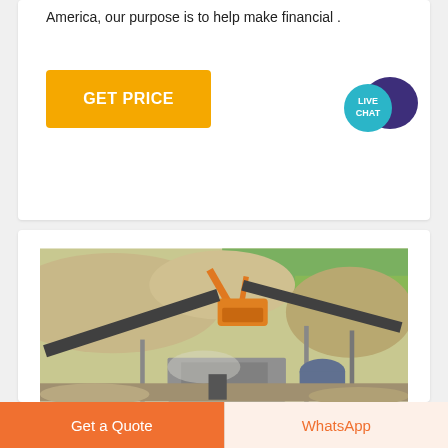America, our purpose is to help make financial .
[Figure (other): Yellow GET PRICE button and Live Chat bubble icon]
[Figure (photo): Mining/quarry site with excavator, conveyor belts, crusher machinery, gravel piles, and green fields in background]
[Figure (other): Bottom bar with Get a Quote (orange) and WhatsApp (light) buttons]